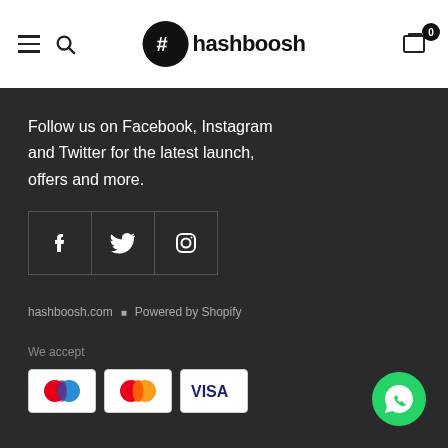hashboosh — navigation header with hamburger menu, search, logo, and cart (0 items)
Follow us on Facebook, Instagram and Twitter for the latest launch, offers and more.
[Figure (other): Social media icon buttons: Facebook (f), Twitter (bird), Instagram (camera) — white icons in outlined square boxes]
hashboosh.com · Powered by Shopify
We accept
[Figure (other): Payment method icons: Maestro, Mastercard, Visa — white card backgrounds with colored logos]
[Figure (other): WhatsApp contact button — green circle with white WhatsApp logo]